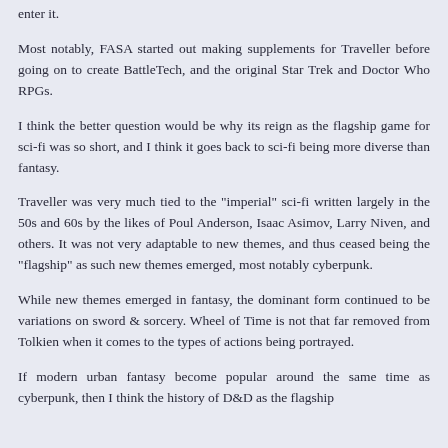enter it.
Most notably, FASA started out making supplements for Traveller before going on to create BattleTech, and the original Star Trek and Doctor Who RPGs.
I think the better question would be why its reign as the flagship game for sci-fi was so short, and I think it goes back to sci-fi being more diverse than fantasy.
Traveller was very much tied to the "imperial" sci-fi written largely in the 50s and 60s by the likes of Poul Anderson, Isaac Asimov, Larry Niven, and others. It was not very adaptable to new themes, and thus ceased being the "flagship" as such new themes emerged, most notably cyberpunk.
While new themes emerged in fantasy, the dominant form continued to be variations on sword & sorcery. Wheel of Time is not that far removed from Tolkien when it comes to the types of actions being portrayed.
If modern urban fantasy become popular around the same time as cyberpunk, then I think the history of D&D as the flagship